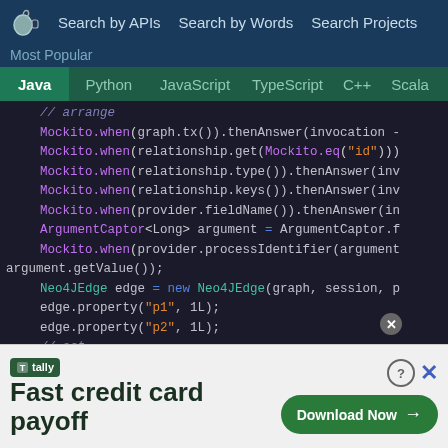Search by APIs  Search by Words  Search Projects
Most Popular
Java  Python  JavaScript  TypeScript  C++  Scala
[Figure (screenshot): Java code snippet showing Mockito mock setup and Neo4JEdge property calls in a dark-themed code editor]
[Figure (other): Tally advertisement banner: Fast credit card payoff, Download Now button]